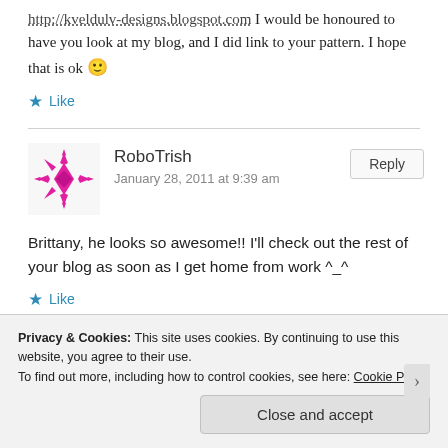http://kveldulv-designs.blogspot.com I would be honoured to have you look at my blog, and I did link to your pattern. I hope that is ok 🙂
★ Like
RoboTrish
January 28, 2011 at 9:39 am
Brittany, he looks so awesome!! I'll check out the rest of your blog as soon as I get home from work ^_^
★ Like
Privacy & Cookies: This site uses cookies. By continuing to use this website, you agree to their use.
To find out more, including how to control cookies, see here: Cookie Policy
Close and accept